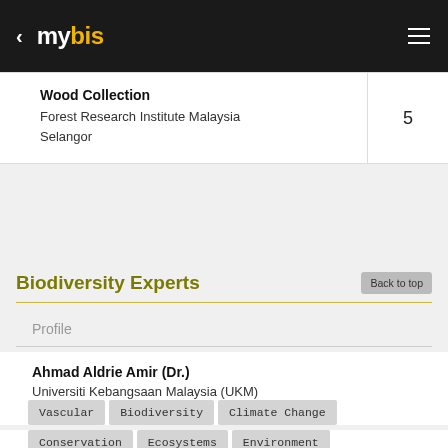mybis
| Collection | Count |
| --- | --- |
| Wood Collection
Forest Research Institute Malaysia
Selangor | 5 |
Biodiversity Experts
Profile
Ahmad Aldrie Amir (Dr.)
Universiti Kebangsaan Malaysia (UKM)
Vascular
Biodiversity
Climate Change
Conservation
Ecosystems
Environment